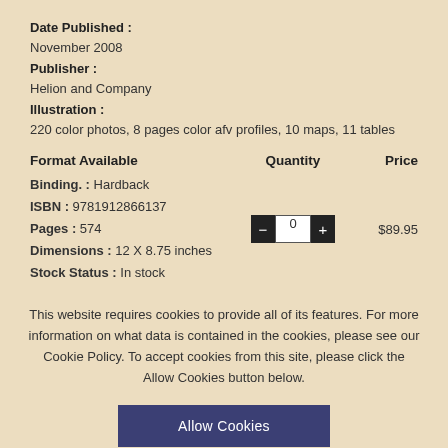Date Published : November 2008
Publisher : Helion and Company
Illustration : 220 color photos, 8 pages color afv profiles, 10 maps, 11 tables
| Format Available | Quantity | Price |
| --- | --- | --- |
| Binding. : Hardback
ISBN : 9781912866137
Pages : 574
Dimensions : 12 X 8.75 inches
Stock Status : In stock | 0 | $89.95 |
This website requires cookies to provide all of its features. For more information on what data is contained in the cookies, please see our Cookie Policy. To accept cookies from this site, please click the Allow Cookies button below.